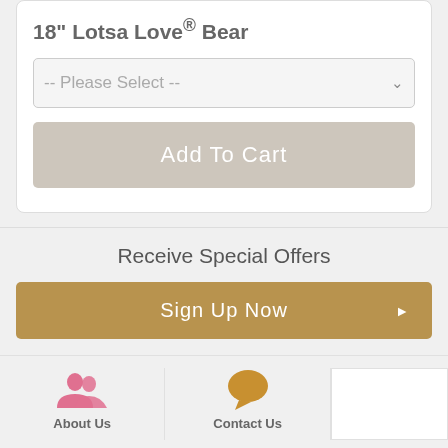18" Lotsa Love® Bear
[Figure (screenshot): Dropdown select element with placeholder text '-- Please Select --']
[Figure (screenshot): Add To Cart button in light gray/beige color]
Receive Special Offers
[Figure (screenshot): Sign Up Now button in golden/tan color with right arrow]
[Figure (screenshot): About Us icon (pink people silhouette) and Contact Us icon (golden chat bubble) in footer]
About Us
Contact Us